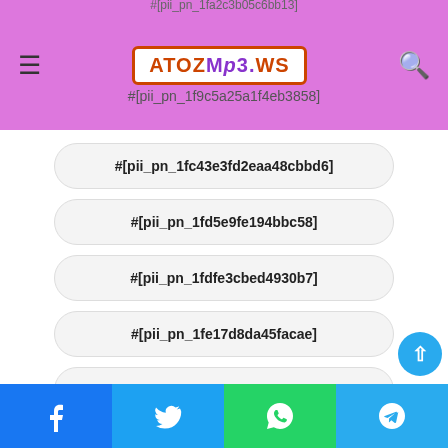AToZMp3.ws — website header with logo and navigation
#[pii_pn_1fc43e3fd2eaa48cbbd6]
#[pii_pn_1fd5e9fe194bbc58]
#[pii_pn_1fdfe3cbed4930b7]
#[pii_pn_1fe17d8da45facae]
#[pii_pn_1ff54d091565bd40]
#[pii_pn_200681f6d58e2f20]
#[pii_pn_2017910e521f45db]
#[pii_pn_2017afa357931bb8]
Social share bar: Facebook, Twitter, WhatsApp, Telegram